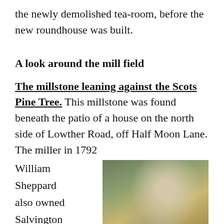the newly demolished tea-room, before the new roundhouse was built.
A look around the mill field
The millstone leaning against the Scots Pine Tree. This millstone was found beneath the patio of a house on the north side of Lowther Road, off Half Moon Lane. The miller in 1792 William Sheppard also owned Salvington Nurseries just
[Figure (photo): Photograph of a millstone leaning against a large Scots Pine tree trunk, surrounded by green foliage and trees in bright daylight.]